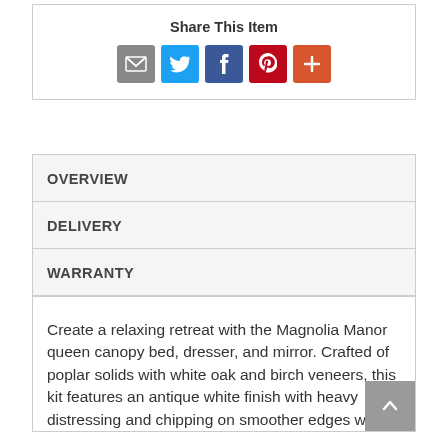Share This Item
[Figure (infographic): Social sharing icons: email (grey), Twitter (blue bird), Facebook (blue f), Pinterest (red P), More (orange-red plus)]
OVERVIEW
DELIVERY
WARRANTY
Create a relaxing retreat with the Magnolia Manor queen canopy bed, dresser, and mirror. Crafted of poplar solids with white oak and birch veneers, this kit features an antique white finish with heavy distressing and chipping on smoother edges with